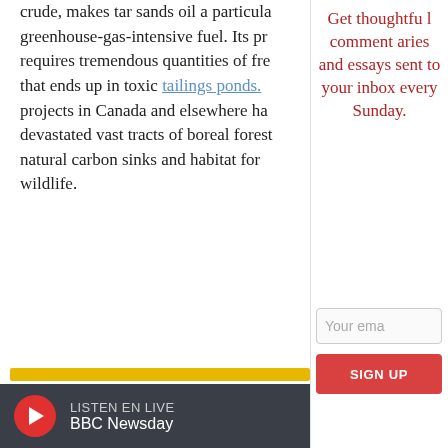crude, makes tar sands oil a particularly greenhouse-gas-intensive fuel. Its production requires tremendous quantities of freshwater that ends up in toxic tailings ponds. Mining projects in Canada and elsewhere have devastated vast tracts of boreal forest, natural carbon sinks and habitat for wildlife.
Get thoughtful commentaries and essays sent to your inbox every Sunday.
Your ema
SIGN UP
The big banks control the [money] that determines the cours[e]
LISTEN EN LIVE BBC Newsday